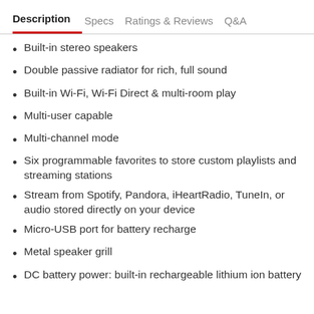Description | Specs | Ratings & Reviews | Q&A
Built-in stereo speakers
Double passive radiator for rich, full sound
Built-in Wi-Fi, Wi-Fi Direct & multi-room play
Multi-user capable
Multi-channel mode
Six programmable favorites to store custom playlists and streaming stations
Stream from Spotify, Pandora, iHeartRadio, TuneIn, or audio stored directly on your device
Micro-USB port for battery recharge
Metal speaker grill
DC battery power: built-in rechargeable lithium ion battery